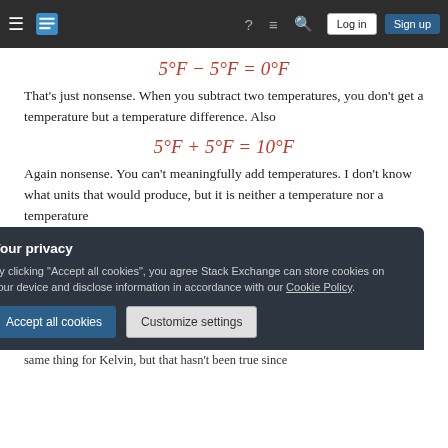Stack Exchange navigation bar
That's just nonsense. When you subtract two temperatures, you don't get a temperature but a temperature difference. Also
Again nonsense. You can't meaningfully add temperatures. I don't know what units that would produce, but it is neither a temperature nor a temperature diff
Your privacy
By clicking "Accept all cookies", you agree Stack Exchange can store cookies on your device and disclose information in accordance with our Cookie Policy.
same thing for Kelvin, but that hasn't been true since